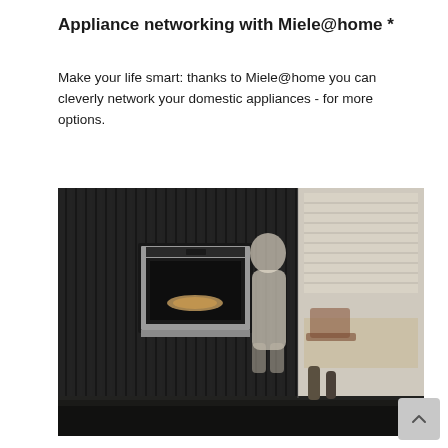Appliance networking with Miele@home *
Make your life smart: thanks to Miele@home you can cleverly network your domestic appliances - for more options.
[Figure (photo): A woman in white standing near a built-in Miele oven set into a dark slatted wood wall panel, with a modern kitchen counter in the foreground and a bright living area visible to the right.]